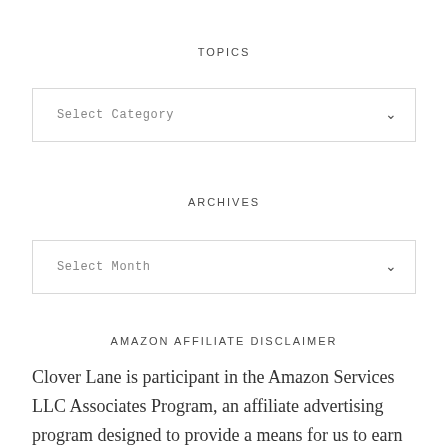TOPICS
[Figure (other): Dropdown select box labeled 'Select Category' with a chevron arrow]
ARCHIVES
[Figure (other): Dropdown select box labeled 'Select Month' with a chevron arrow]
AMAZON AFFILIATE DISCLAIMER
Clover Lane is participant in the Amazon Services LLC Associates Program, an affiliate advertising program designed to provide a means for us to earn fees by clicking Amazon.com and affiliated sites. Read more.